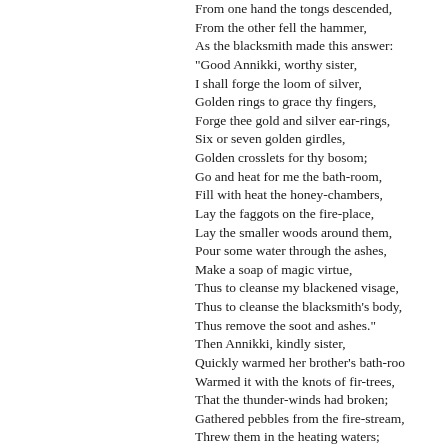From one hand the tongs descended,
From the other fell the hammer,
As the blacksmith made this answer:
"Good Annikki, worthy sister,
I shall forge the loom of silver,
Golden rings to grace thy fingers,
Forge thee gold and silver ear-rings,
Six or seven golden girdles,
Golden crosslets for thy bosom;
Go and heat for me the bath-room,
Fill with heat the honey-chambers,
Lay the faggots on the fire-place,
Lay the smaller woods around them,
Pour some water through the ashes,
Make a soap of magic virtue,
Thus to cleanse my blackened visage,
Thus to cleanse the blacksmith's body,
Thus remove the soot and ashes."
Then Annikki, kindly sister,
Quickly warmed her brother's bath-room,
Warmed it with the knots of fir-trees,
That the thunder-winds had broken;
Gathered pebbles from the fire-stream,
Threw them in the heating waters;
Broke the tassels from the birch-trees,
Steeped the foliage in honey,